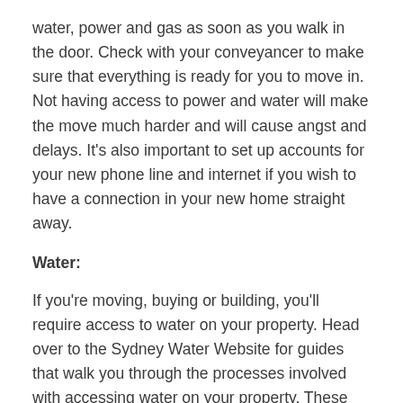water, power and gas as soon as you walk in the door. Check with your conveyancer to make sure that everything is ready for you to move in. Not having access to power and water will make the move much harder and will cause angst and delays. It's also important to set up accounts for your new phone line and internet if you wish to have a connection in your new home straight away.
Water:
If you're moving, buying or building, you'll require access to water on your property. Head over to the Sydney Water Website for guides that walk you through the processes involved with accessing water on your property. These easy to navigate guides will provide you with all the information you require.